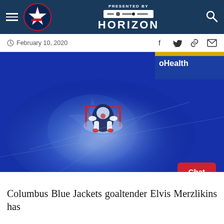Columbus Blue Jackets website header with navigation, logo, HORIZON sponsor, and search icon
February 10, 2020
[Figure (photo): Aerial/top-down view of Columbus Blue Jackets goaltender in net on ice, with blue ice rink surface and OhioHealth arena signage visible in background]
Columbus Blue Jackets goaltender Elvis Merzlikins has